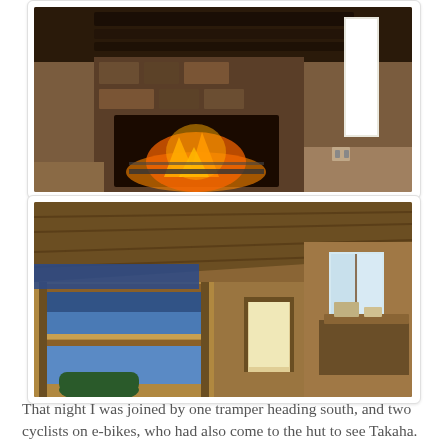[Figure (photo): Interior of a rustic hut showing a stone fireplace with an open fire burning, wooden beams on the ceiling, and a bright window on the right side.]
[Figure (photo): Interior of a wooden hut showing bunk beds with blue mattresses on the left, a view down a hallway toward a window and door at the back, and a desk/table area on the right.]
That night I was joined by one tramper heading south, and two cyclists on e-bikes, who had also come to the hut to see Takaha. They too, were sadly disappointed.